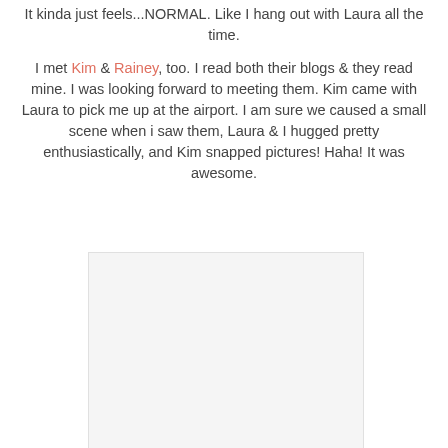It kinda just feels...NORMAL. Like I hang out with Laura all the time.
I met Kim & Rainey, too. I read both their blogs & they read mine. I was looking forward to meeting them. Kim came with Laura to pick me up at the airport. I am sure we caused a small scene when i saw them, Laura & I hugged pretty enthusiastically, and Kim snapped pictures! Haha! It was awesome.
[Figure (photo): Photo placeholder — blank/white image area]